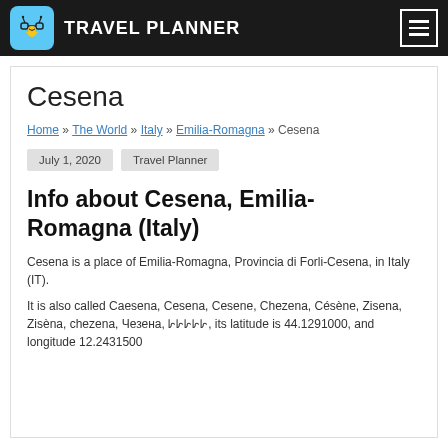TRAVEL PLANNER
Cesena
Home » The World » Italy » Emilia-Romagna » Cesena
July 1, 2020   Travel Planner
Info about Cesena, Emilia-Romagna (Italy)
Cesena is a place of Emilia-Romagna, Provincia di Forli-Cesena, in Italy (IT).
It is also called Caesena, Cesena, Cesene, Chezena, Césène, Zisena, Zisèna, chezena, Чезена, &#x15C1;&#x15C1;&#x15C1;&#x15C1;&#x15C1;, its latitude is 44.1291000, and longitude 12.2431500